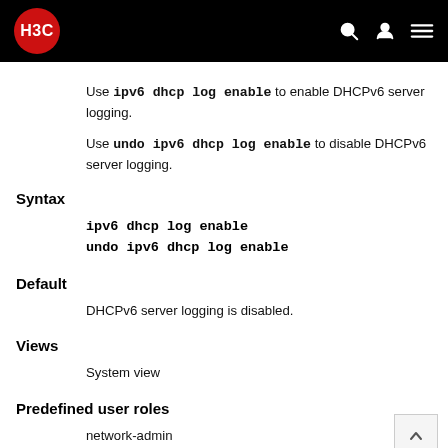H3C
Use ipv6 dhcp log enable to enable DHCPv6 server logging.
Use undo ipv6 dhcp log enable to disable DHCPv6 server logging.
Syntax
ipv6 dhcp log enable
undo ipv6 dhcp log enable
Default
DHCPv6 server logging is disabled.
Views
System view
Predefined user roles
network-admin